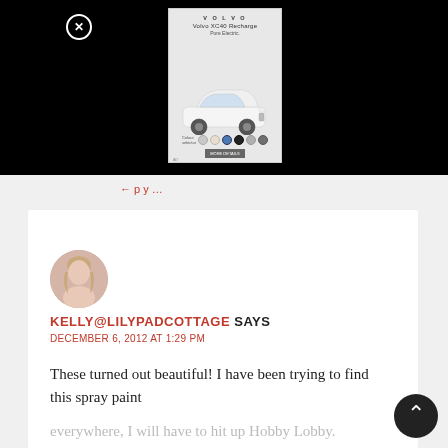[Figure (screenshot): Volvo XC40 Recharge Pure Electric advertisement banner with car image and color swatches]
KELLY@LILYPADCOTTAGE SAYS
DECEMBER 6, 2012 AT 1:29 PM
These turned out beautiful! I have been trying to find this spray paint everywhere, I will have to hit up Hobby Lobby. Thanks!